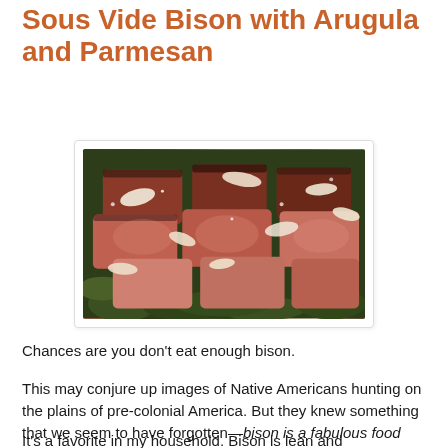Sous Vide Bison with Arugula and Parmesan
[Figure (photo): Sliced sous vide bison steak served on a bed of arugula with shaved Parmesan cheese on top, presented on a plate.]
Chances are you don't eat enough bison.
This may conjure up images of Native Americans hunting on the plains of pre-colonial America. But they knew something that we seem to have forgotten—bison is a fabulous food source.
It's a favorite in my household. Bison is lean and